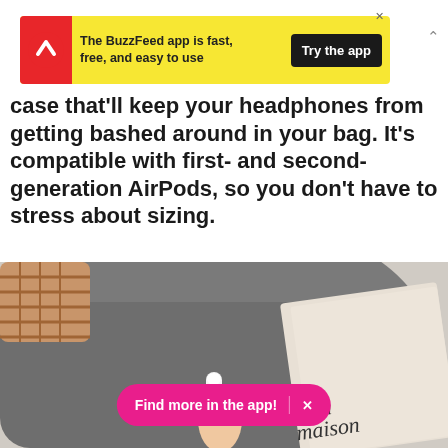[Figure (screenshot): BuzzFeed app advertisement banner with yellow background, red circular logo with white arrow, text 'The BuzzFeed app is fast, free, and easy to use', and a dark 'Try the app' button]
case that'll keep your headphones from getting bashed around in your bag. It's compatible with first- and second-generation AirPods, so you don't have to stress about sizing.
[Figure (photo): Photo of a person's hand holding white AirPods case near a grey fabric bag/clothing and a book with text 'La maison' visible]
Find more in the app!